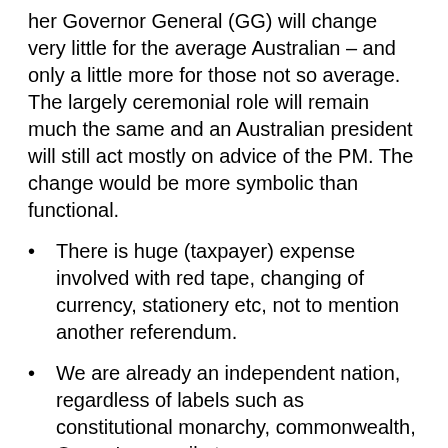her Governor General (GG) will change very little for the average Australian – and only a little more for those not so average. The largely ceremonial role will remain much the same and an Australian president will still act mostly on advice of the PM. The change would be more symbolic than functional.
There is huge (taxpayer) expense involved with red tape, changing of currency, stationery etc, not to mention another referendum.
We are already an independent nation, regardless of labels such as constitutional monarchy, commonwealth, Queen's council etc.
Change can induce anxiety and anger among those who are happy with the way things are travelling.
Some dislike the whole idea of more elections, referendums and the palaver that comes with them. Voting for president could be just another